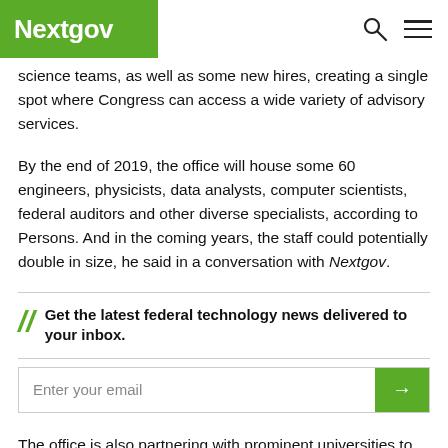Nextgov
science teams, as well as some new hires, creating a single spot where Congress can access a wide variety of advisory services.
By the end of 2019, the office will house some 60 engineers, physicists, data analysts, computer scientists, federal auditors and other diverse specialists, according to Persons. And in the coming years, the staff could potentially double in size, he said in a conversation with Nextgov.
Get the latest federal technology news delivered to your inbox.
Enter your email
The office is also partnering with prominent universities to offer faculty short-term stints within the organization, Persons said,